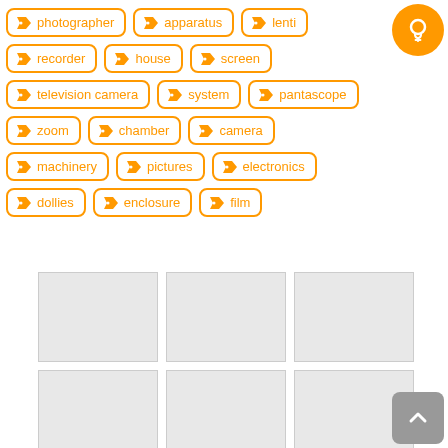photographer
apparatus
lenti
recorder
house
screen
television camera
system
pantascope
zoom
chamber
camera
machinery
pictures
electronics
dollies
enclosure
film
[Figure (other): Grid of 6 placeholder image thumbnails (grey boxes with border), arranged 3 columns x 2 rows]